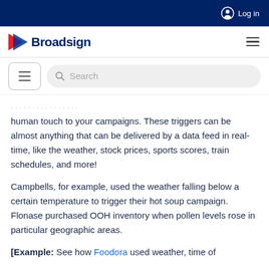Log in
Broadsign
[Figure (screenshot): Broadsign website navigation bar with logo and hamburger menu, plus a search bar]
human touch to your campaigns. These triggers can be almost anything that can be delivered by a data feed in real-time, like the weather, stock prices, sports scores, train schedules, and more!
Campbells, for example, used the weather falling below a certain temperature to trigger their hot soup campaign. Flonase purchased OOH inventory when pollen levels rose in particular geographic areas.
[Example: See how Foodora used weather, time of